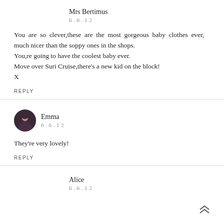Mrs Bertimus
6.6.12
You are so clever,these are the most gorgeous baby clothes ever, much nicer than the soppy ones in the shops.
You,re going to have the coolest baby ever.
Move over Suri Cruise,there's a new kid on the block!
X
REPLY
Emma
6.6.12
They're very lovely!
REPLY
Alice
6.6.12